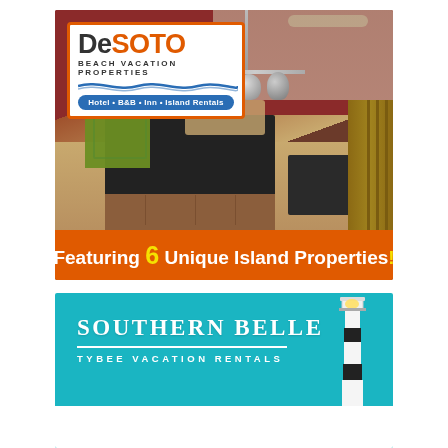[Figure (photo): DeSoto Beach Vacation Properties advertisement. Top section shows interior photo of a vacation home kitchen with dark granite countertops, wood cabinets, hardwood floors, hanging pot rack, and open living area with red walls. Logo in upper left shows 'DeSoto Beach Vacation Properties – Hotel • B&B • Inn • Island Rentals'. Orange banner at bottom reads 'Featuring 6 Unique Island Properties!']
[Figure (logo): Southern Belle Tybee Vacation Rentals advertisement on teal/turquoise background with lighthouse graphic on right side. Text reads 'SOUTHERN BELLE' in large serif letters, 'TYBEE VACATION RENTALS' below. White bar at bottom.]